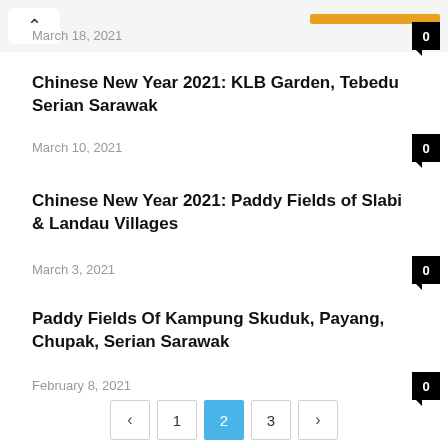March 18, 2021
Chinese New Year 2021: KLB Garden, Tebedu Serian Sarawak
March 10, 2021
Chinese New Year 2021: Paddy Fields of Slabi & Landau Villages
March 3, 2021
Paddy Fields Of Kampung Skuduk, Payang, Chupak, Serian Sarawak
February 8, 2021
< 1 2 3 >